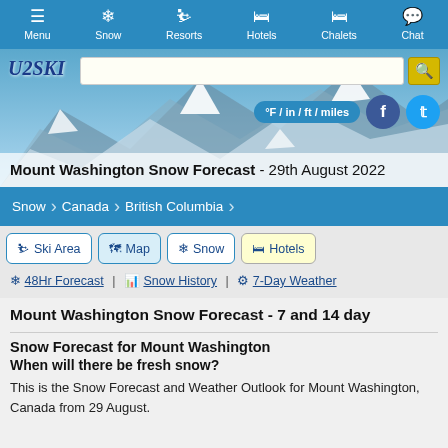Menu | Snow | Resorts | Hotels | Chalets | Chat
[Figure (screenshot): U2SKI website header with logo, search bar, units toggle (°F / in / ft / miles), Facebook and Twitter icons, and mountain snow background image]
Mount Washington Snow Forecast - 29th August 2022
Snow > Canada > British Columbia
Ski Area | Map | Snow | Hotels
48Hr Forecast | Snow History | 7-Day Weather
Mount Washington Snow Forecast - 7 and 14 day
Snow Forecast for Mount Washington
When will there be fresh snow?
This is the Snow Forecast and Weather Outlook for Mount Washington, Canada from 29 August.